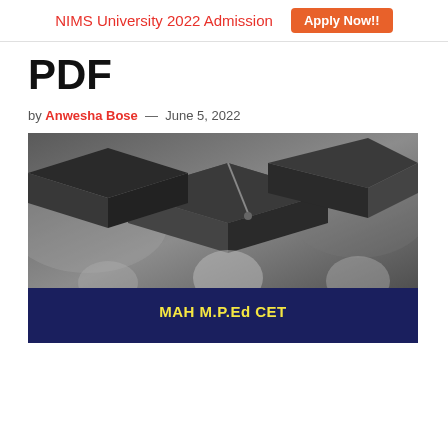NIMS University 2022 Admission  Apply Now!!
PDF
by Anwesha Bose — June 5, 2022
[Figure (photo): Black and white photo of graduation caps worn by students, with a dark blue banner at the bottom reading 'MAH M.P.Ed CET' in yellow bold text.]
MAH M.P.Ed CET